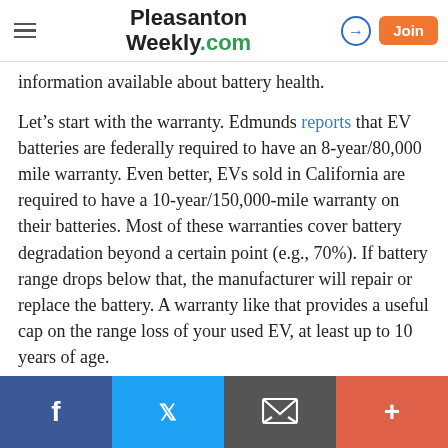Pleasanton Weekly.com
information available about battery health.
Let’s start with the warranty. Edmunds reports that EV batteries are federally required to have an 8-year/80,000 mile warranty. Even better, EVs sold in California are required to have a 10-year/150,000-mile warranty on their batteries. Most of these warranties cover battery degradation beyond a certain point (e.g., 70%). If battery range drops below that, the manufacturer will repair or replace the battery. A warranty like that provides a useful cap on the range loss of your used EV, at least up to 10 years of age.